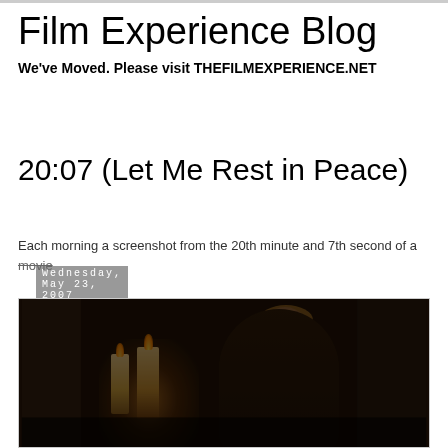Film Experience Blog
We've Moved. Please visit THEFILMEXPERIENCE.NET
Wednesday, May 23, 2007
20:07 (Let Me Rest in Peace)
Each morning a screenshot from the 20th minute and 7th second of a movie
[Figure (photo): Dark candlelit scene from a movie screenshot, showing a woman in a dark jacket standing in a dimly lit stone room with candles burning in the background.]